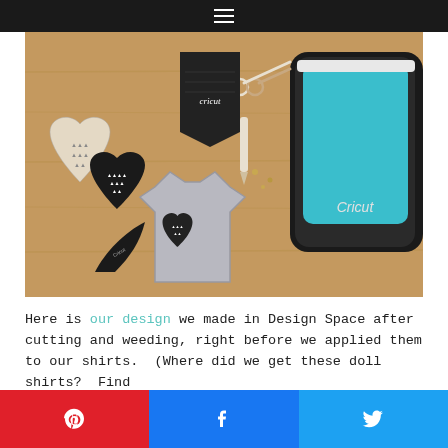☰
[Figure (photo): Flat lay photo on a wooden surface showing: a gray baby/doll t-shirt with a black and white patterned heart design applied to it, two heart-shaped cut vinyl pieces with black and white chevron/triangle pattern, a black pennant-shaped piece with 'cricut' text, scissors, a stylus/pen tool, small metal brads/fasteners, and a Cricut cutting machine (white and teal) in the upper right corner.]
Here is our design we made in Design Space after cutting and weeding, right before we applied them to our shirts.  (Where did we get these doll shirts?  Find
[Figure (infographic): Social share bar with three buttons: Pinterest (red with Pinterest logo), Facebook (blue with Facebook logo), Twitter (blue with Twitter bird logo)]